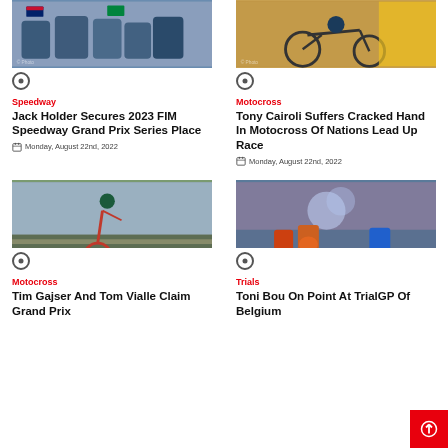[Figure (photo): Group of motocross/speedway riders in racing gear with UK and Australian flags]
Speedway
Jack Holder Secures 2023 FIM Speedway Grand Prix Series Place
Monday, August 22nd, 2022
[Figure (photo): Motocross rider on dirt bike mid-race with yellow barrier in background]
Motocross
Tony Cairoli Suffers Cracked Hand In Motocross Of Nations Lead Up Race
Monday, August 22nd, 2022
[Figure (photo): Motocross rider on red dirt bike performing a wheelie in front of a large crowd]
Motocross
Tim Gajser And Tom Vialle Claim Grand Prix
[Figure (photo): Celebration scene with riders spraying champagne in front of a crowd at TrialGP Belgium]
Trials
Toni Bou On Point At TrialGP Of Belgium